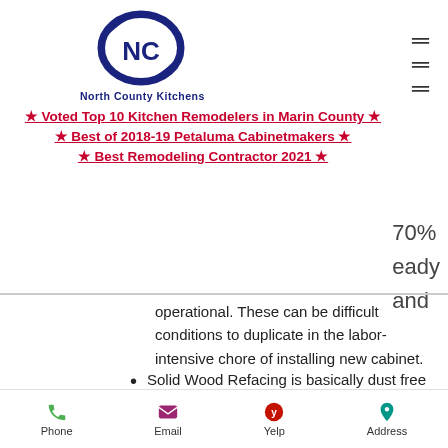[Figure (logo): North County Kitchens logo with NC initials in blue circle with navy border]
North County Kitchens
★ Voted Top 10 Kitchen Remodelers in Marin County ★
★ Best of 2018-19 Petaluma Cabinetmakers ★
★ Best Remodeling Contractor 2021 ★
operational. These can be difficult conditions to duplicate in the labor-intensive chore of installing new cabinet.
Solid Wood Refacing is basically dust free and involves minimal down time.
Phone  Email  Yelp  Address